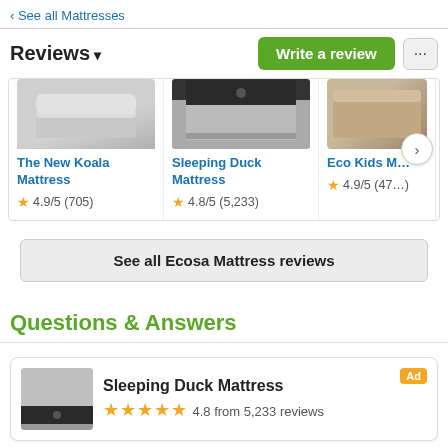‹ See all Mattresses
Reviews ▾
Write a review
[Figure (screenshot): Three product cards showing mattresses: The New Koala Mattress (4.9/5, 705 reviews), Sleeping Duck Mattress (4.8/5, 5,233 reviews), Eco Kids M... (4.9/5, 47... reviews), with a next arrow button]
See all Ecosa Mattress reviews
Questions & Answers
[Figure (screenshot): Ad card for Sleeping Duck Mattress showing product image, 5-star rating, 4.8 from 5,233 reviews, and Ad badge]
questions about Ecosa Mattress